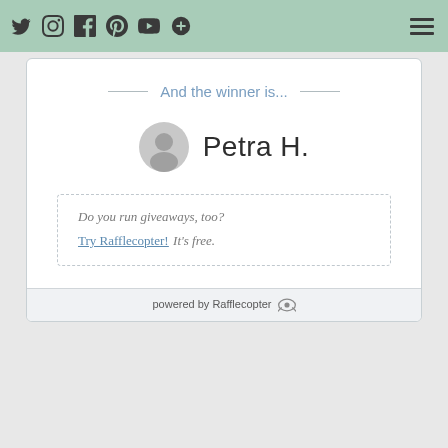Twitter, Instagram, Facebook, Pinterest, YouTube, Plus, Menu
And the winner is...
Petra H.
Do you run giveaways, too? Try Rafflecopter! It's free.
powered by Rafflecopter